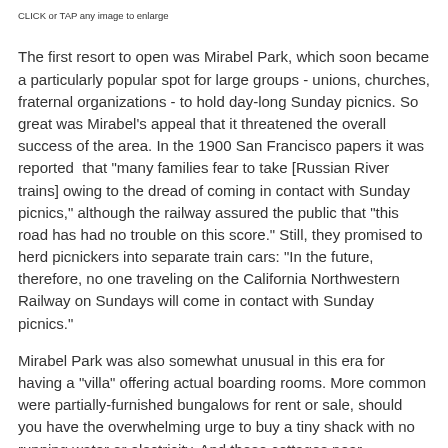CLICK or TAP any image to enlarge
The first resort to open was Mirabel Park, which soon became a particularly popular spot for large groups - unions, churches, fraternal organizations - to hold day-long Sunday picnics. So great was Mirabel's appeal that it threatened the overall success of the area. In the 1900 San Francisco papers it was reported that "many families fear to take [Russian River trains] owing to the dread of coming in contact with Sunday picnics," although the railway assured the public that "this road has had no trouble on this score." Still, they promised to herd picnickers into separate train cars: "In the future, therefore, no one traveling on the California Northwestern Railway on Sundays will come in contact with Sunday picnics."
Mirabel Park was also somewhat unusual in this era for having a "villa" offering actual boarding rooms. More common were partially-furnished bungalows for rent or sale, should you have the overwhelming urge to buy a tiny shack with no running water or electricity. And these cottages near the river didn't actually have enough frontage to touch the